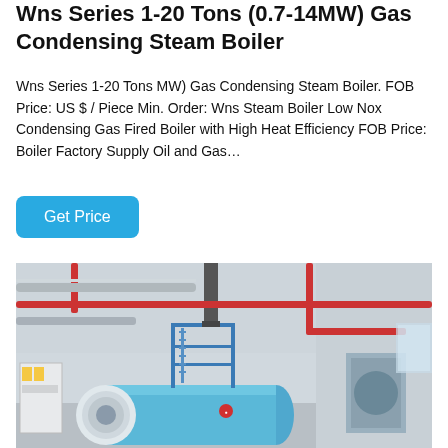Wns Series 1-20 Tons (0.7-14MW) Gas Condensing Steam Boiler
Wns Series 1-20 Tons MW) Gas Condensing Steam Boiler. FOB Price: US $ / Piece Min. Order: Wns Steam Boiler Low Nox Condensing Gas Fired Boiler with High Heat Efficiency FOB Price: Boiler Factory Supply Oil and Gas…
Get Price
[Figure (photo): Industrial gas condensing steam boiler in a factory setting. A large cylindrical blue boiler with a white circular end cap and red logo is shown, with blue metal scaffolding/ladder structure, red pipes overhead, silver insulated pipes, and a vertical exhaust flue stack. The room has white walls and a concrete floor.]